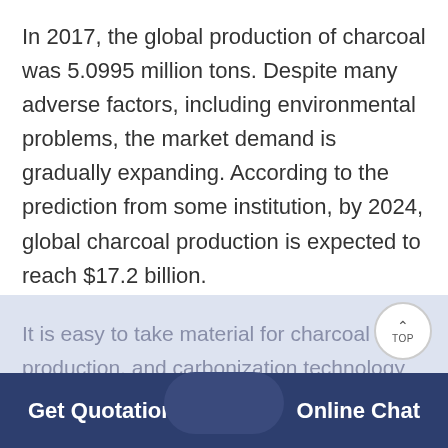In 2017, the global production of charcoal was 5.0995 million tons. Despite many adverse factors, including environmental problems, the market demand is gradually expanding. According to the prediction from some institution, by 2024, global charcoal production is expected to reach $17.2 billion.
It is easy to take material for charcoal production, and carbonization technology and charcoal briquettes production line technology are more mature than before. As one of the
Get Quotation   Online Chat